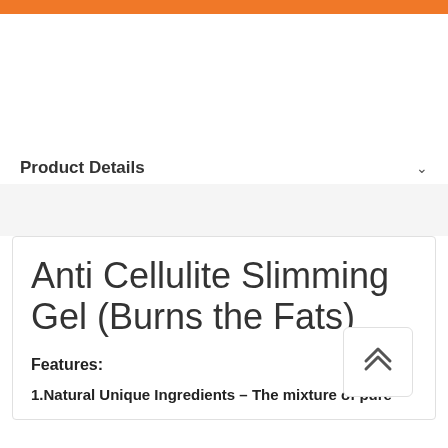Product Details
Anti Cellulite Slimming Gel (Burns the Fats)
Features:
1.Natural Unique Ingredients – The mixture of pure